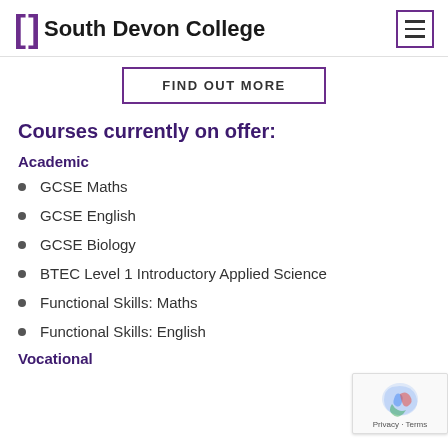South Devon College
FIND OUT MORE
Courses currently on offer:
Academic
GCSE Maths
GCSE English
GCSE Biology
BTEC Level 1 Introductory Applied Science
Functional Skills: Maths
Functional Skills: English
Vocational